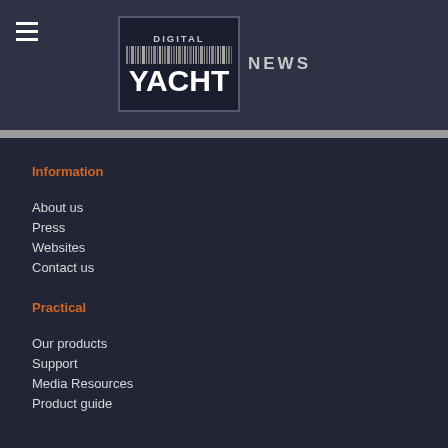DIGITAL YACHT NEWS
Information
About us
Press
Websites
Contact us
Practical
Our products
Support
Media Resources
Product guide